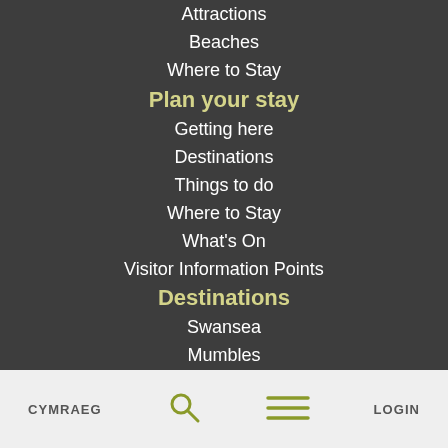Attractions
Beaches
Where to Stay
Plan your stay
Getting here
Destinations
Things to do
Where to Stay
What's On
Visitor Information Points
Destinations
Swansea
Mumbles
CYMRAEG   LOGIN